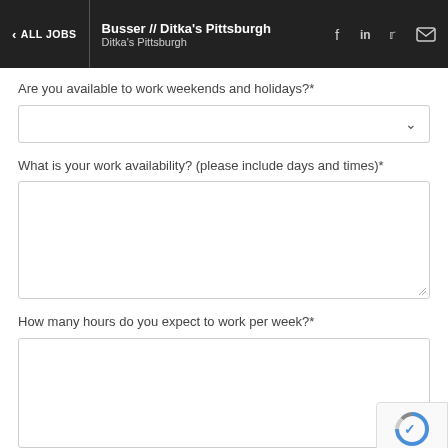< ALL JOBS | Busser // Ditka's Pittsburgh | Ditka's Pittsburgh
Are you available to work weekends and holidays?*
What is your work availability? (please include days and times)*
How many hours do you expect to work per week?*